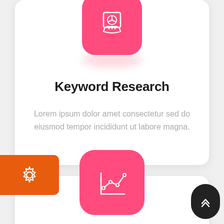[Figure (illustration): Pink rounded square icon with a hand holding a pie chart report, representing keyword research service]
Keyword Research
Lorem ipsum dolor amet consectetur sed do eiusmod tempor incididunt ut labore magna.
[Figure (illustration): Orange rounded rectangle button with a gear/settings icon]
[Figure (illustration): Pink rounded square icon with a line chart/analytics icon, representing a second service card]